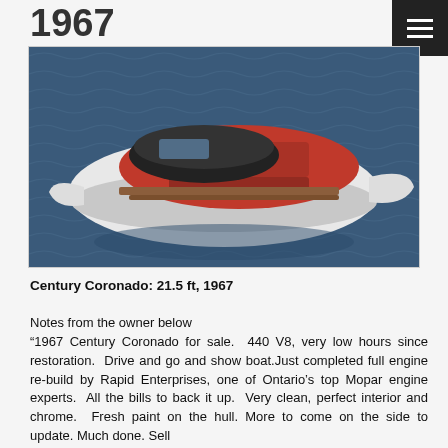1967
[Figure (photo): Aerial view of a 1967 Century Coronado boat with red interior seating and a dark convertible top, floating on dark blue water.]
Century Coronado: 21.5 ft, 1967
Notes from the owner below
“1967 Century Coronado for sale. 440 V8, very low hours since restoration. Drive and go and show boat.Just completed full engine re-build by Rapid Enterprises, one of Ontario’s top Mopar engine experts. All the bills to back it up. Very clean, perfect interior and chrome. Fresh paint on the hull. More to come on the side to update. Much done. Sell